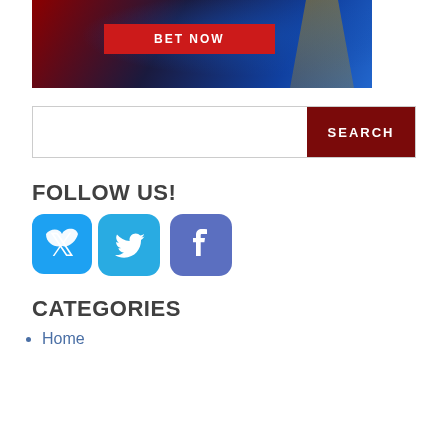[Figure (photo): Sports betting banner with basketball player in yellow jersey, blue arena background, and a red 'BET NOW' button]
[Figure (other): Search bar with text input field and dark red SEARCH button]
FOLLOW US!
[Figure (other): Twitter and Facebook social media icon buttons]
CATEGORIES
Home